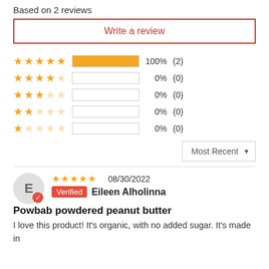Based on 2 reviews
Write a review
[Figure (infographic): Star rating breakdown: 5 stars 100% (2), 4 stars 0% (0), 3 stars 0% (0), 2 stars 0% (0), 1 star 0% (0)]
Most Recent
08/30/2022
Verified Eileen Alholinna
Powbab powdered peanut butter
I love this product! It's organic, with no added sugar. It's made in